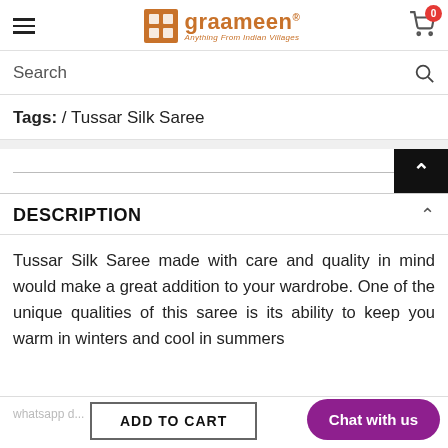graameen® — Anything From Indian Villages
Search
Tags: / Tussar Silk Saree
DESCRIPTION
Tussar Silk Saree made with care and quality in mind would make a great addition to your wardrobe. One of the unique qualities of this saree is its ability to keep you warm in winters and cool in summers